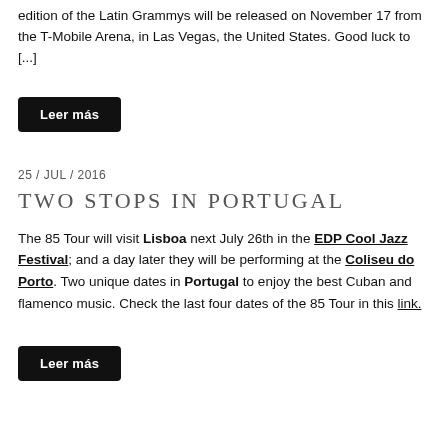edition of the Latin Grammys will be released on November 17 from the T-Mobile Arena, in Las Vegas, the United States. Good luck to [...]
Leer más
25 / JUL / 2016
TWO STOPS IN PORTUGAL
The 85 Tour will visit Lisboa next July 26th in the EDP Cool Jazz Festival; and a day later they will be performing at the Coliseu do Porto. Two unique dates in Portugal to enjoy the best Cuban and flamenco music. Check the last four dates of the 85 Tour in this link.
Leer más